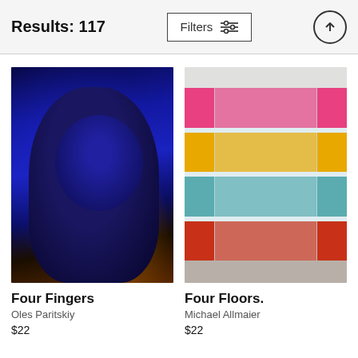Results: 117
[Figure (screenshot): Filters button with sliders icon]
[Figure (photo): Close-up portrait of a woman lit with blue and yellow light, dramatic shadows]
Four Fingers
Oles Paritskiy
$22
[Figure (photo): Interior of a building with colorful floors: pink, yellow, teal/blue, red-orange, viewed from below looking up through glass balustrades]
Four Floors.
Michael Allmaier
$22